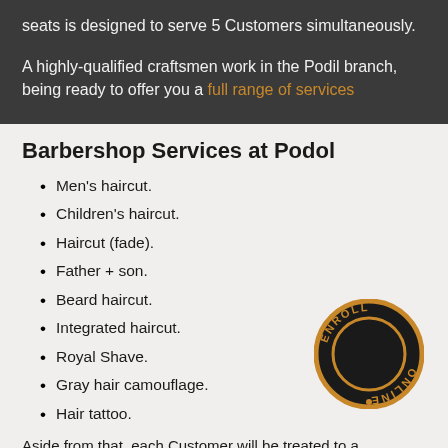seats is designed to serve 5 Customers simultaneously.
A highly-qualified craftsmen work in the Podil branch, being ready to offer you a full range of services
Barbershop Services at Podol
Men's haircut.
Children's haircut.
Haircut (fade).
Father + son.
Beard haircut.
Integrated haircut.
Royal Shave.
Gray hair camouflage.
Hair tattoo.
[Figure (logo): Circular badge with dark background, orange border ring, and text 'ENROLL ONLINE' around the edge]
Aside from that, each Customer will be treated to a